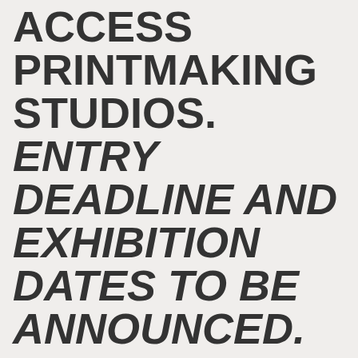ACCESS PRINTMAKING STUDIOS.  ENTRY DEADLINE AND EXHIBITION DATES TO BE ANNOUNCED.
We're calling for artist-members of Castlemaine Press and Fife Dunfermline Printmakers Workshop to take part in a print exchange and exhibition project. The project will be the start of an international partnership between these two grassroots printmaking organisations, with potential for